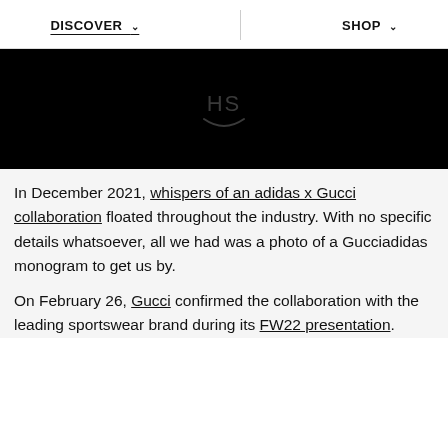DISCOVER   SHOP
[Figure (photo): Black rectangle hero image with faint 'HS' watermark logo in the center]
In December 2021, whispers of an adidas x Gucci collaboration floated throughout the industry. With no specific details whatsoever, all we had was a photo of a Gucciadidas monogram to get us by.
On February 26, Gucci confirmed the collaboration with the leading sportswear brand during its FW22 presentation.